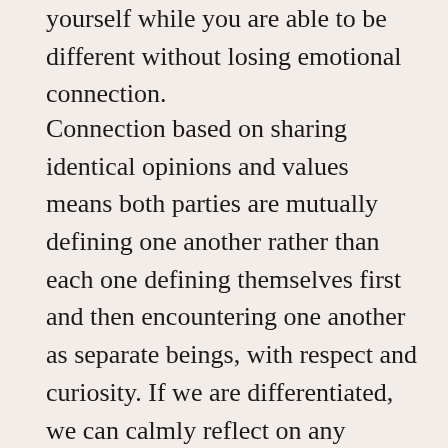yourself while you are able to be different without losing emotional connection.
Connection based on sharing identical opinions and values means both parties are mutually defining one another rather than each one defining themselves first and then encountering one another as separate beings, with respect and curiosity. If we are differentiated, we can calmly reflect on any difference of opinion or conflict without jeopardizing the connection. If not, difference will become a source of conflict or threaten the connection. When differentiated, we take responsibility for our own contribution, and recognize what “stuff” belongs to the other person. If not, we may be over- or under-